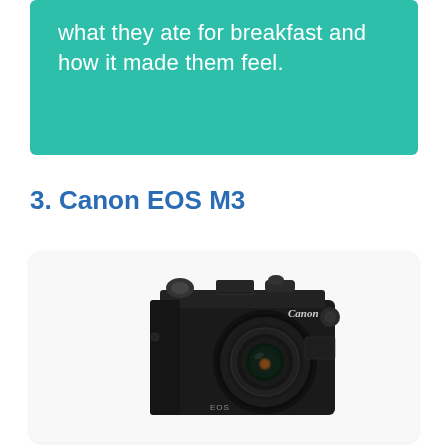what they ate for breakfast and how it made them feel.
3. Canon EOS M3
[Figure (photo): Photo of a Canon EOS M3 mirrorless camera with Canon EF-M 18-55mm lens, shown in three-quarter view against a light grey rounded-rectangle card background.]